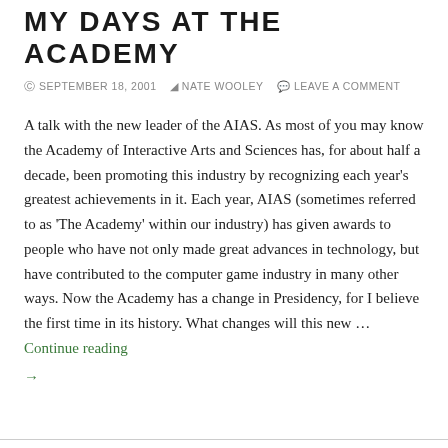MY DAYS AT THE ACADEMY
SEPTEMBER 18, 2001  NATE WOOLEY  LEAVE A COMMENT
A talk with the new leader of the AIAS. As most of you may know the Academy of Interactive Arts and Sciences has, for about half a decade, been promoting this industry by recognizing each year's greatest achievements in it. Each year, AIAS (sometimes referred to as 'The Academy' within our industry) has given awards to people who have not only made great advances in technology, but have contributed to the computer game industry in many other ways. Now the Academy has a change in Presidency, for I believe the first time in its history. What changes will this new … Continue reading →